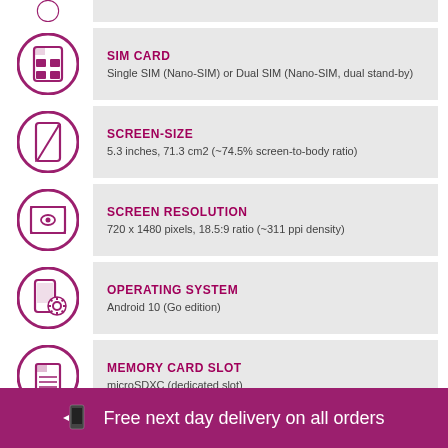[Figure (infographic): Partial cropped top row with SIM card icon circle and grey info box]
SIM CARD
Single SIM (Nano-SIM) or Dual SIM (Nano-SIM, dual stand-by)
SCREEN-SIZE
5.3 inches, 71.3 cm2 (~74.5% screen-to-body ratio)
SCREEN RESOLUTION
720 x 1480 pixels, 18.5:9 ratio (~311 ppi density)
OPERATING SYSTEM
Android 10 (Go edition)
MEMORY CARD SLOT
microSDXC (dedicated slot)
Free next day delivery on all orders